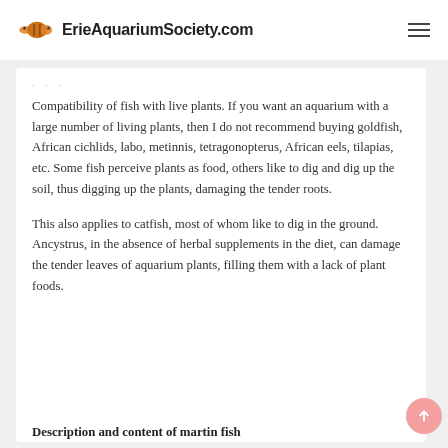ErieAquariumSociety.com
Compatibility of fish with live plants. If you want an aquarium with a large number of living plants, then I do not recommend buying goldfish, African cichlids, labo, metinnis, tetragonopterus, African eels, tilapias, etc. Some fish perceive plants as food, others like to dig and dig up the soil, thus digging up the plants, damaging the tender roots.
This also applies to catfish, most of whom like to dig in the ground. Ancystrus, in the absence of herbal supplements in the diet, can damage the tender leaves of aquarium plants, filling them with a lack of plant foods.
Description and content of martin fish